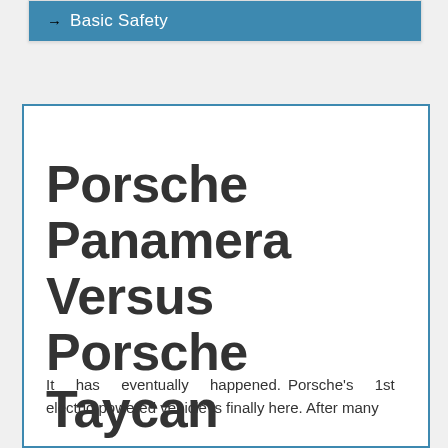→ Basic Safety
Porsche Panamera Versus Porsche Taycan
It has eventually happened. Porsche's 1st electric-powered vehicle is finally here. After many